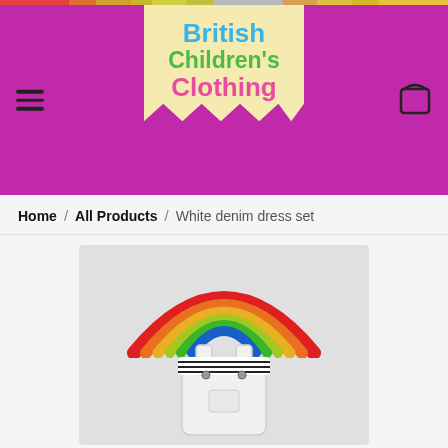[Figure (logo): British Children's Clothing website logo on a yellow banner with zigzag bottom, on a purple background. Logo text: 'British' in blue, 'Children's' in green, 'Clothing' in pink.]
Home / All Products / White denim dress set
[Figure (photo): Product photo showing a white denim dungaree dress set with a striped black and white top underneath, displayed on a mannequin against a grey background. A colourful wooden rainbow toy is placed above the clothing.]